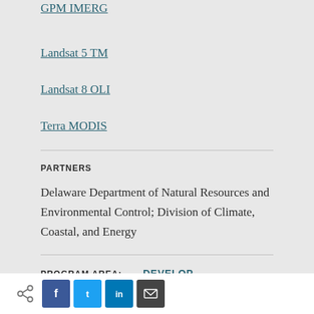GPM IMERG
Landsat 5 TM
Landsat 8 OLI
Terra MODIS
PARTNERS
Delaware Department of Natural Resources and Environmental Control; Division of Climate, Coastal, and Energy
PROGRAM AREA:
DEVELOP